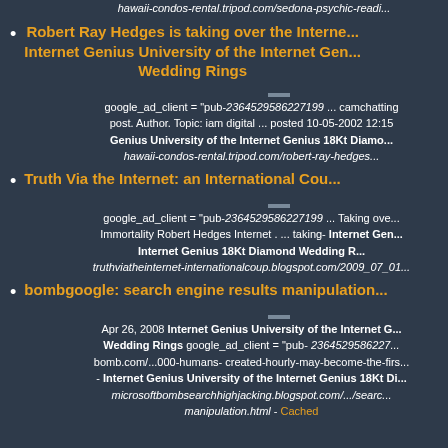hawaii-condos-rental.tripod.com/sedona-psychic-readi...
Robert Ray Hedges is taking over the Interne... Internet Genius University of the Internet Gen... Wedding Rings
google_ad_client = "pub-2364529586227199 ... camchatting post. Author. Topic: iam digital ... posted 10-05-2002 12:15 Genius University of the Internet Genius 18Kt Diamo... hawaii-condos-rental.tripod.com/robert-ray-hedges...
Truth Via the Internet: an International Cou...
google_ad_client = "pub-2364529586227199 ... Taking ove... Immortality Robert Hedges Internet . ... taking- Internet Gen... Internet Genius 18Kt Diamond Wedding R... truthviatheinternet-internationalcoup.blogspot.com/2009_07_01...
bombgoogle: search engine results manipulation...
Apr 26, 2008 Internet Genius University of the Internet G... Wedding Rings google_ad_client = "pub- 2364529586227... bomb.com/...000-humans- created-hourly-may-become-the-firs... - Internet Genius University of the Internet Genius 18Kt Di... microsoftbombsearchhighjacking.blogspot.com/.../search... manipulation.html - Cached